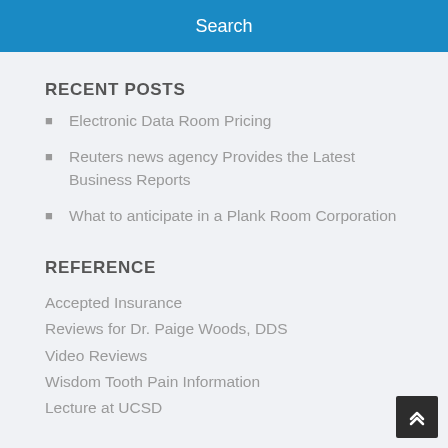Search
RECENT POSTS
Electronic Data Room Pricing
Reuters news agency Provides the Latest Business Reports
What to anticipate in a Plank Room Corporation
REFERENCE
Accepted Insurance
Reviews for Dr. Paige Woods, DDS
Video Reviews
Wisdom Tooth Pain Information
Lecture at UCSD